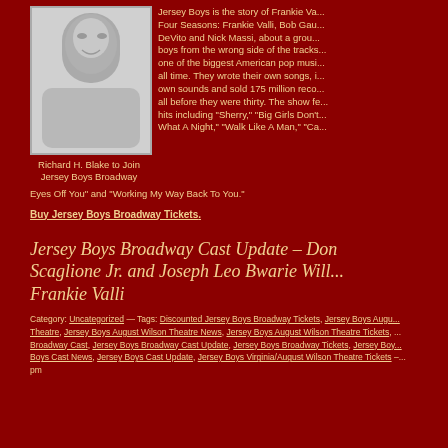[Figure (photo): Black and white headshot photo of Richard H. Blake]
Richard H. Blake to Join Jersey Boys Broadway
Jersey Boys is the story of Frankie Valli and the Four Seasons: Frankie Valli, Bob Gaudio, Tommy DeVito and Nick Massi, about a group of boys from the wrong side of the tracks who became one of the biggest American pop music sensations of all time. They wrote their own songs, invented their own sounds and sold 175 million records, and did it all before they were thirty. The show features hit including "Sherry," "Big Girls Don't... What A Night," "Walk Like A Man," "Ca... Eyes Off You" and "Working My Way Back To You."
Buy Jersey Boys Broadway Tickets.
Jersey Boys Broadway Cast Update – Don Scaglione Jr. and Joseph Leo Bwarie Will... Frankie Valli
Category: Uncategorized — Tags: Discounted Jersey Boys Broadway Tickets, Jersey Boys August... Theatre, Jersey Boys August Wilson Theatre News, Jersey Boys August Wilson Theatre Tickets, ...Jersey Boys Broadway Cast, Jersey Boys Broadway Cast Update, Jersey Boys Broadway Tickets, Jersey Boy... Boys Cast News, Jersey Boys Cast Update, Jersey Boys Virginia/August Wilson Theatre Tickets –... pm